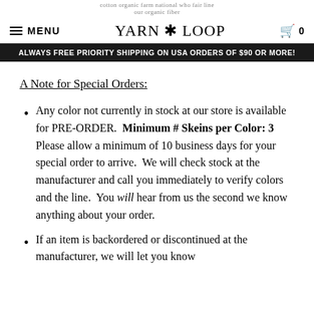YARN LOOP — MENU | Cart 0 | Always free priority shipping on USA orders of $90 or more!
A Note for Special Orders:
Any color not currently in stock at our store is available for PRE-ORDER. Minimum # Skeins per Color: 3  Please allow a minimum of 10 business days for your special order to arrive. We will check stock at the manufacturer and call you immediately to verify colors and the line. You will hear from us the second we know anything about your order.
If an item is backordered or discontinued at the manufacturer, we will let you know